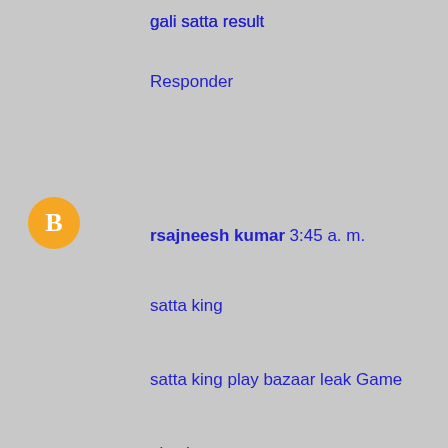gali satta result
Responder
rsajneesh kumar 3:45 a. m.
satta king
satta king play bazaar leak Game
play bazaar
play bazaar Delhi
satta king disawar result compny
Gaziabad satta king